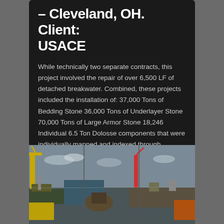– Cleveland, OH. Client: USACE
While technically two separate contracts, this project involved the repair of over 6,500 LF of detached breakwater. Combined, these projects included the installation of: 37,000 Tons of Bedding Stone 36,000 Tons of Underlayer Stone 70,000 Tons of Large Armor Stone 18,246 Individual 6.5 Ton Dolosse components that were individually mapped and indexed through customized software.
[Figure (photo): Wide panoramic photo of a marine construction site showing cranes, barges, and heavy equipment working on a waterway breakwater project at Cleveland, OH.]